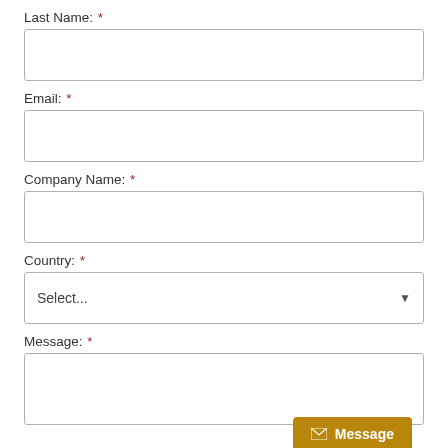Last Name: *
Email: *
Company Name: *
Country: *
Message: *